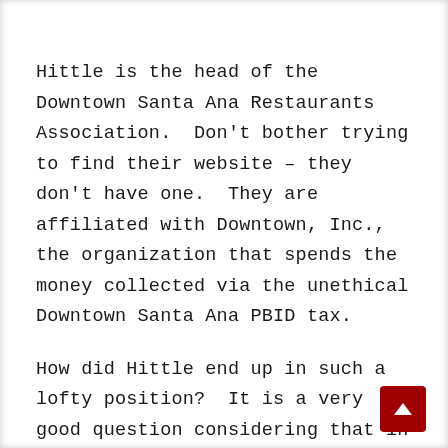Hittle is the head of the Downtown Santa Ana Restaurants Association.  Don't bother trying to find their website – they don't have one.  They are affiliated with Downtown, Inc., the organization that spends the money collected via the unethical Downtown Santa Ana PBID tax.
How did Hittle end up in such a lofty position?  It is a very good question considering that in 2003 he was a Santa Ana Animal Control officer.